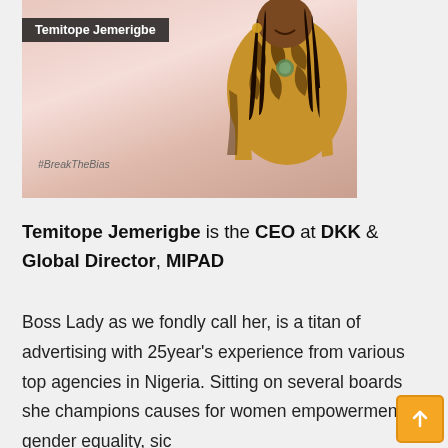[Figure (photo): Photo of Temitope Jemerigbe smiling, wearing a colorful tiger-print/African-print outfit with braids. Pink/peach gradient background. Name overlay in dark box top-left. #BreakTheBias hashtag bottom-left.]
Temitope Jemerigbe is the CEO at DKK & Global Director, MIPAD
Boss Lady as we fondly call her, is a titan of advertising with 25year's experience from various top agencies in Nigeria. Sitting on several boards she champions causes for women empowerment, gender equality, sic